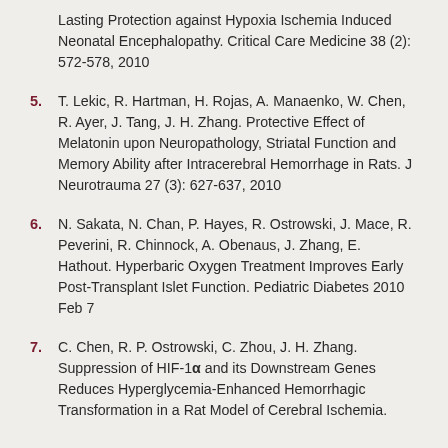Lasting Protection against Hypoxia Ischemia Induced Neonatal Encephalopathy. Critical Care Medicine 38 (2): 572-578, 2010
5. T. Lekic, R. Hartman, H. Rojas, A. Manaenko, W. Chen, R. Ayer, J. Tang, J. H. Zhang. Protective Effect of Melatonin upon Neuropathology, Striatal Function and Memory Ability after Intracerebral Hemorrhage in Rats. J Neurotrauma 27 (3): 627-637, 2010
6. N. Sakata, N. Chan, P. Hayes, R. Ostrowski, J. Mace, R. Peverini, R. Chinnock, A. Obenaus, J. Zhang, E. Hathout. Hyperbaric Oxygen Treatment Improves Early Post-Transplant Islet Function. Pediatric Diabetes 2010 Feb 7
7. C. Chen, R. P. Ostrowski, C. Zhou, J. H. Zhang. Suppression of HIF-1α and its Downstream Genes Reduces Hyperglycemia-Enhanced Hemorrhagic Transformation in a Rat Model of Cerebral Ischemia.